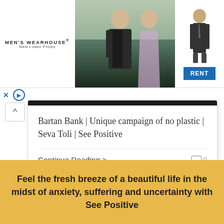[Figure (screenshot): Men's Wearhouse advertisement banner with couple in formal wear and a man in a suit, with a RENT button]
× ▷
Bartan Bank | Unique campaign of no plastic | Seva Toli | See Positive
Continue Reading > 0
Feel the fresh breeze of a beautiful life in the midst of anxiety, suffering and uncertainty with See Positive